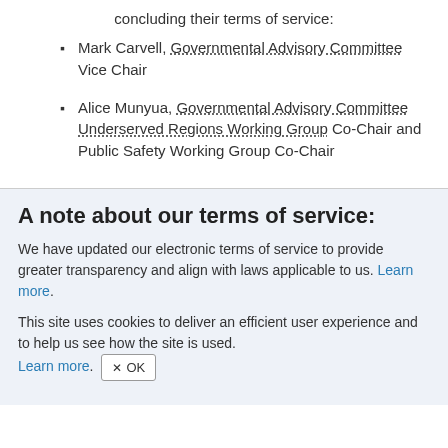concluding their terms of service:
Mark Carvell, Governmental Advisory Committee Vice Chair
Alice Munyua, Governmental Advisory Committee Underserved Regions Working Group Co-Chair and Public Safety Working Group Co-Chair
A note about our terms of service:
We have updated our electronic terms of service to provide greater transparency and align with laws applicable to us. Learn more.
This site uses cookies to deliver an efficient user experience and to help us see how the site is used. Learn more. OK